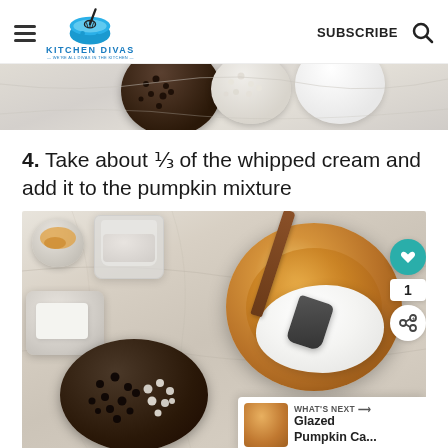Kitchen Divas — WE'RE ALL DIVAS IN THE KITCHEN — | SUBSCRIBE
[Figure (photo): Top portion of a food preparation photo showing bowls with chocolate chips and white chips on a marble surface]
4. Take about ⅓ of the whipped cream and add it to the pumpkin mixture
[Figure (photo): Food preparation photo showing bowls with pumpkin mixture being combined with whipped cream using a spatula, with chocolate chips and cream cheese visible on a marble surface. Side buttons show heart/like button with count of 1 and share button. What's Next banner showing Glazed Pumpkin Ca...]